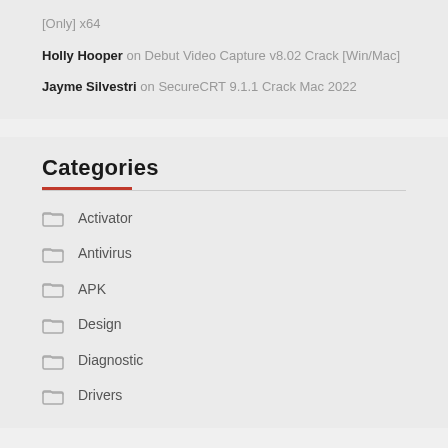[Only] x64
Holly Hooper on Debut Video Capture v8.02 Crack [Win/Mac]
Jayme Silvestri on SecureCRT 9.1.1 Crack Mac 2022
Categories
Activator
Antivirus
APK
Design
Diagnostic
Drivers